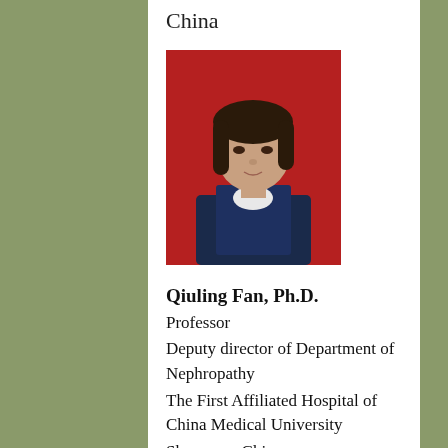China
[Figure (photo): Headshot photo of Qiuling Fan against a red background, wearing a dark blazer]
Qiuling Fan, Ph.D.
Professor
Deputy director of Department of Nephropathy
The First Affiliated Hospital of China Medical University
Shenyang, China
[Figure (photo): Partial headshot photo of another person, cropped at bottom of page]